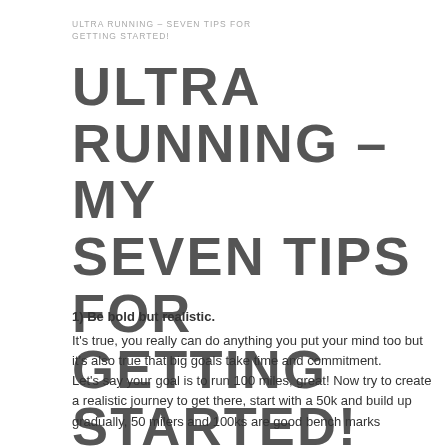ULTRA RUNNING – SEVEN TIPS FOR GETTING STARTED!
ULTRA RUNNING – MY SEVEN TIPS FOR GETTING STARTED!
1) Be bold but realistic.
It's true, you really can do anything you put your mind too but it's also true that big goals take time and commitment.
Let's say your goal is to run 100 miles, great! Now try to create a realistic journey to get there, start with a 50k and build up gradually, 50 milers and 100ks are good bench marks